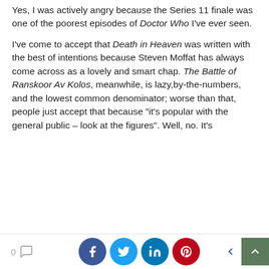Yes, I was actively angry because the Series 11 finale was one of the poorest episodes of Doctor Who I've ever seen.
I've come to accept that Death in Heaven was written with the best of intentions because Steven Moffat has always come across as a lovely and smart chap. The Battle of Ranskoor Av Kolos, meanwhile, is lazy,by-the-numbers, and the lowest common denominator; worse than that, people just accept that because "it's popular with the general public – look at the figures". Well, no. It's
We use cookies on our website to give you the most relevant experience by remembering your preferences and repeat visits. By clicking "Accept", you consent to the use of ALL the cookies.
Do not sell my personal information.
0  [comment icon]  [Facebook]  [Twitter]  [LinkedIn]  [Pinterest]  [Share]  [Back to top]